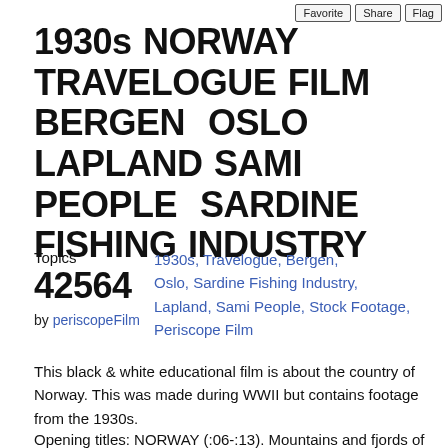1930s NORWAY TRAVELOGUE FILM BERGEN  OSLO  LAPLAND SAMI PEOPLE  SARDINE FISHING INDUSTRY  42564
by periscopeFilm
Topics    1930s, Travelogue, Bergen, Oslo, Sardine Fishing Industry, Lapland, Sami People, Stock Footage, Periscope Film
This black & white educational film is about the country of Norway. This was made during WWII but contains footage from the 1930s.
Opening titles: NORWAY (:06-:13). Mountains and fjords of the